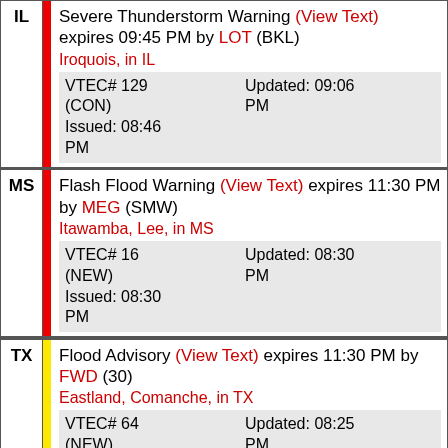IL | Severe Thunderstorm Warning (View Text) expires 09:45 PM by LOT (BKL) Iroquois, in IL VTEC# 129 (CON) Issued: 08:46 PM Updated: 09:06 PM
MS | Flash Flood Warning (View Text) expires 11:30 PM by MEG (SMW) Itawamba, Lee, in MS VTEC# 16 (NEW) Issued: 08:30 PM Updated: 08:30 PM
TX | Flood Advisory (View Text) expires 11:30 PM by FWD (30) Eastland, Comanche, in TX VTEC# 64 (NEW) Issued: 08:25 PM Updated: 08:25 PM